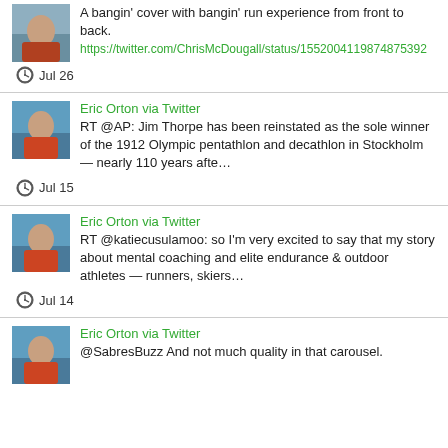A bangin' cover with bangin' run experience from front to back. https://twitter.com/ChrisMcDougall/status/1552004119874875392
Jul 26
Eric Orton via Twitter
RT @AP: Jim Thorpe has been reinstated as the sole winner of the 1912 Olympic pentathlon and decathlon in Stockholm — nearly 110 years afte…
Jul 15
Eric Orton via Twitter
RT @katiecusulamoo: so I'm very excited to say that my story about mental coaching and elite endurance & outdoor athletes — runners, skiers…
Jul 14
Eric Orton via Twitter
@SabresBuzz And not much quality in that carousel.